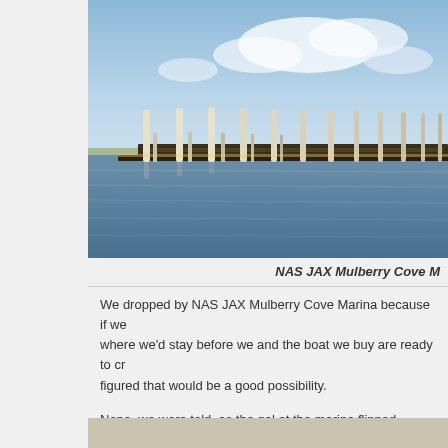[Figure (photo): Marina dock photo — NAS JAX Mulberry Cove Marina showing a long empty dock with white pilings extending into open water under a partly cloudy blue sky]
NAS JAX Mulberry Cove M…
We dropped by NAS JAX Mulberry Cove Marina because if we… where we'd stay before we and the boat we buy are ready to cr… figured that would be a good possibility.
Nope, we were told, as the gal at the marina flipped through he…